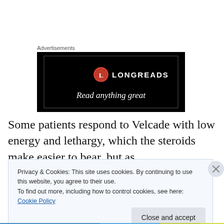Advertisements
[Figure (illustration): Longreads advertisement banner on black background with red circular logo and text 'LONGREADS' and tagline 'Read anything great']
Some patients respond to Velcade with low energy and lethargy, which the steroids make easier to bear, but as
Privacy & Cookies: This site uses cookies. By continuing to use this website, you agree to their use.
To find out more, including how to control cookies, see here: Cookie Policy
Close and accept